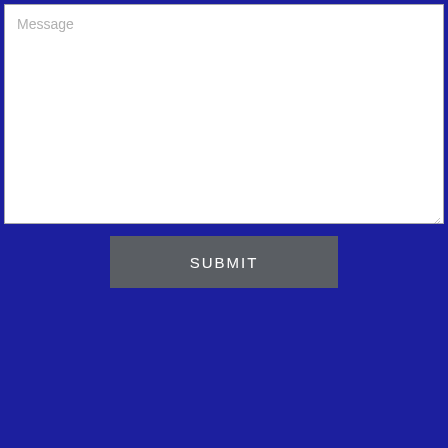[Figure (screenshot): A web form textarea input field with placeholder text 'Message' on a dark blue background, followed by a grey 'SUBMIT' button below.]